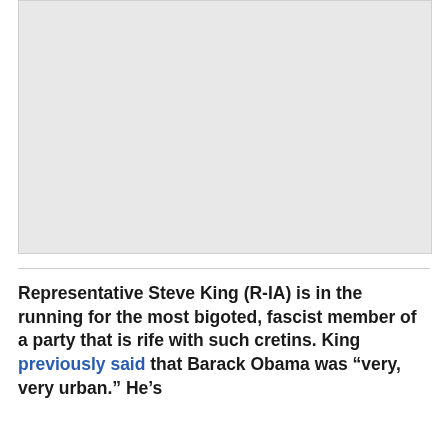[Figure (other): Gray placeholder image region at the top of the page]
Representative Steve King (R-IA) is in the running for the most bigoted, fascist member of a party that is rife with such cretins. King previously said that Barack Obama was “very, very urban.” He’s